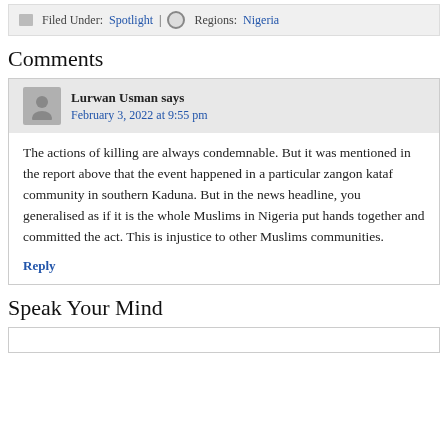Filed Under: Spotlight | Regions: Nigeria
Comments
Lurwan Usman says
February 3, 2022 at 9:55 pm
The actions of killing are always condemnable. But it was mentioned in the report above that the event happened in a particular zangon kataf community in southern Kaduna. But in the news headline, you generalised as if it is the whole Muslims in Nigeria put hands together and committed the act. This is injustice to other Muslims communities.
Reply
Speak Your Mind